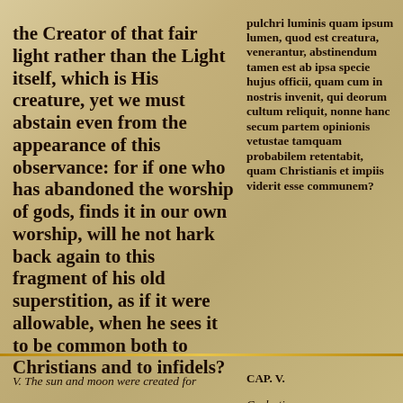the Creator of that fair light rather than the Light itself, which is His creature, yet we must abstain even from the appearance of this observance: for if one who has abandoned the worship of gods, finds it in our own worship, will he not hark back again to this fragment of his old superstition, as if it were allowable, when he sees it to be common both to Christians and to infidels?
pulchri luminis quam ipsum lumen, quod est creatura, venerantur, abstinendum tamen est ab ipsa specie hujus officii, quam cum in nostris invenit, qui deorum cultum reliquit, nonne hanc secum partem opinionis vetustae tamquam probabilem retentabit, quam Christianis et impiis viderit esse communem?
V. The sun and moon were created for
CAP. V. Caelestia corpora